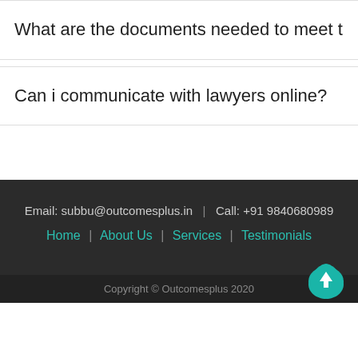What are the documents needed to meet the lawy…
Can i communicate with lawyers online?
Email: subbu@outcomesplus.in  |  Call: +91 9840680989
Home  |  About Us  |  Services  |  Testimonials
Copyright © Outcomesplus 2020